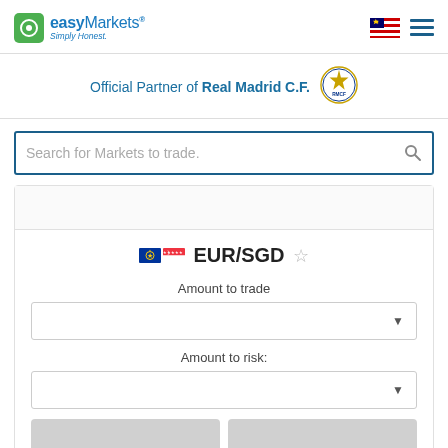[Figure (logo): easyMarkets logo with green square icon and 'Simply Honest.' tagline, plus Malaysian flag and hamburger menu]
Official Partner of Real Madrid C.F.
[Figure (logo): Real Madrid C.F. badge/crest]
Search for Markets to trade.
EUR/SGD
Amount to trade
Amount to risk: